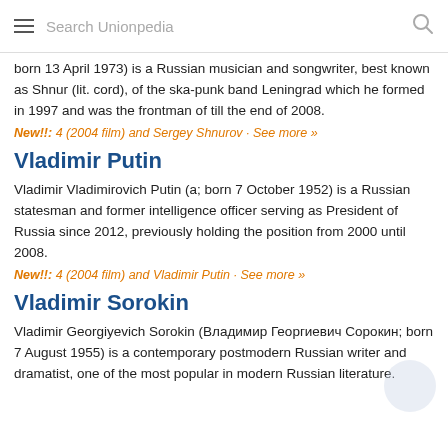Search Unionpedia
born 13 April 1973) is a Russian musician and songwriter, best known as Shnur (lit. cord), of the ska-punk band Leningrad which he formed in 1997 and was the frontman of till the end of 2008.
New!!: 4 (2004 film) and Sergey Shnurov · See more »
Vladimir Putin
Vladimir Vladimirovich Putin (a; born 7 October 1952) is a Russian statesman and former intelligence officer serving as President of Russia since 2012, previously holding the position from 2000 until 2008.
New!!: 4 (2004 film) and Vladimir Putin · See more »
Vladimir Sorokin
Vladimir Georgiyevich Sorokin (Владимир Георгиевич Сорокин; born 7 August 1955) is a contemporary postmodern Russian writer and dramatist, one of the most popular in modern Russian literature.